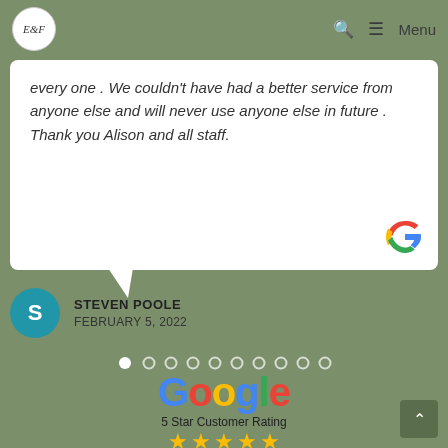E&F — Menu navigation
every one . We couldn't have had a better service from anyone else and will never use anyone else in future . Thank you Alison and all staff.
[Figure (logo): Google G logo in speech bubble bottom right corner]
STEVEN POOLE
FEBRUARY 5, 2022
[Figure (other): Pagination dots — 10 dots, first one filled white]
[Figure (logo): Google logo in multicolor text]
5 Star Customer Rating
[Figure (other): Five gold star icons]
READ REVIEWS